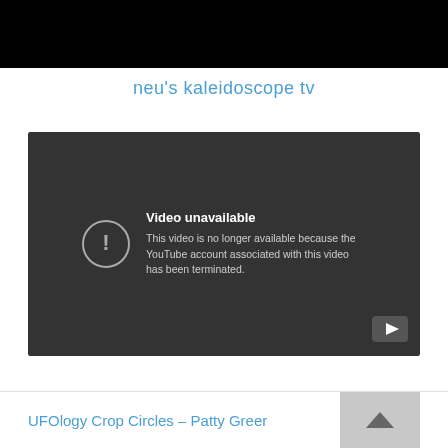[Figure (screenshot): Black bar at top of page, likely navigation or header area of website]
neu's kaleidoscope tv
[Figure (screenshot): Embedded YouTube video player showing error message: 'Video unavailable - This video is no longer available because the YouTube account associated with this video has been terminated.' Dark gray background with circular exclamation icon and YouTube logo in bottom right corner.]
UFOlogy Crop Circles – Patty Greer